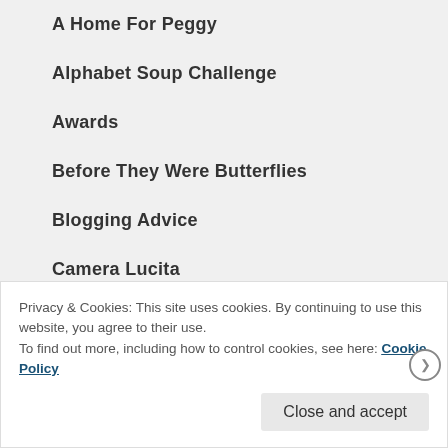A Home For Peggy
Alphabet Soup Challenge
Awards
Before They Were Butterflies
Blogging Advice
Camera Lucita
children's book
children's series
Privacy & Cookies: This site uses cookies. By continuing to use this website, you agree to their use.
To find out more, including how to control cookies, see here: Cookie Policy
Close and accept